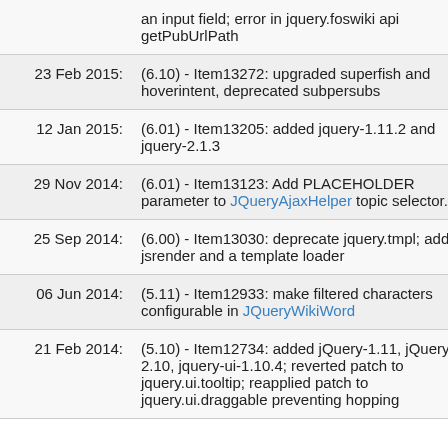| Date | Description |
| --- | --- |
|  | an input field; error in jquery.foswiki api getPubUrlPath |
| 23 Feb 2015: | (6.10) - Item13272: upgraded superfish and hoverintent, deprecated subpersubs |
| 12 Jan 2015: | (6.01) - Item13205: added jquery-1.11.2 and jquery-2.1.3 |
| 29 Nov 2014: | (6.01) - Item13123: Add PLACEHOLDER parameter to JQueryAjaxHelper topic selector. |
| 25 Sep 2014: | (6.00) - Item13030: deprecate jquery.tmpl; added jsrender and a template loader |
| 06 Jun 2014: | (5.11) - Item12933: make filtered characters configurable in JQueryWikiWord |
| 21 Feb 2014: | (5.10) - Item12734: added jQuery-1.11, jQuery-2.10, jquery-ui-1.10.4; reverted patch to jquery.ui.tooltip; reapplied patch to jquery.ui.draggable preventing hopping and clicking |